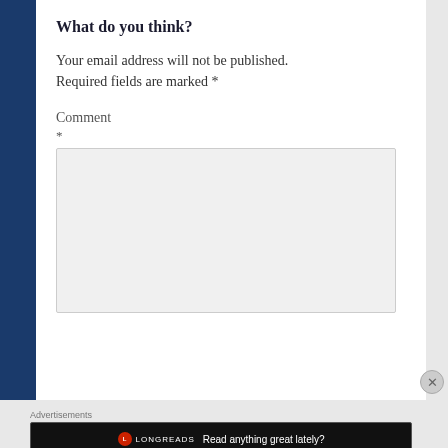What do you think?
Your email address will not be published. Required fields are marked *
Comment
*
[Figure (other): Empty comment text area input box with light gray background]
Advertisements
[Figure (other): Longreads advertisement banner with black background, red circular logo, LONGREADS brand name, and tagline 'Read anything great lately?']